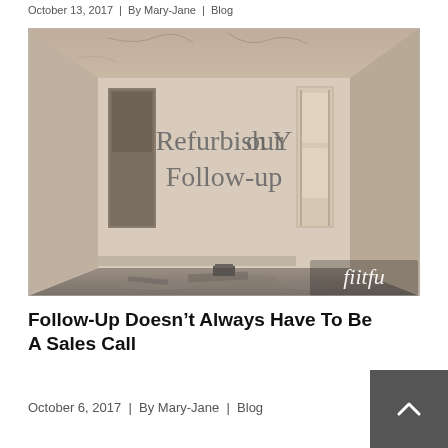October 13, 2017  |  By Mary-Jane  |  Blog
[Figure (photo): Photo of a dilapidated empty room with peeling walls and debris on the floor. Text overlay reads 'Refurbish Your Follow-up'. Logo 'fiitfu' in bottom-right corner.]
Follow-Up Doesn’t Always Have To Be A Sales Call
October 6, 2017  |  By Mary-Jane  |  Blog